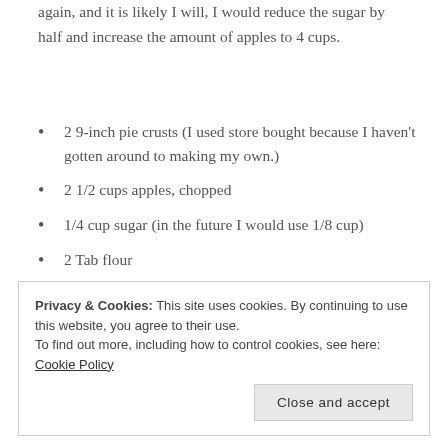again, and it is likely I will, I would reduce the sugar by half and increase the amount of apples to 4 cups.
2 9-inch pie crusts (I used store bought because I haven't gotten around to making my own.)
2 1/2 cups apples, chopped
1/4 cup sugar (in the future I would use 1/8 cup)
2 Tab flour
1 tsp ground cinnamon
1 tsp vanilla extract
1/8 tsp ground nutmeg
Privacy & Cookies: This site uses cookies. By continuing to use this website, you agree to their use. To find out more, including how to control cookies, see here: Cookie Policy